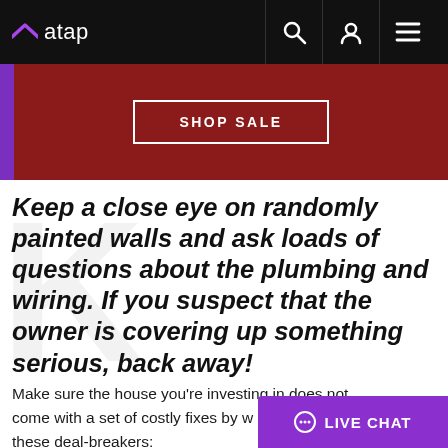atap
[Figure (screenshot): Red banner with SHOP SALE button]
Keep a close eye on randomly painted walls and ask loads of questions about the plumbing and wiring. If you suspect that the owner is covering up something serious, back away!
Make sure the house you're investing in does not come with a set of costly fixes by watching out for these deal-breakers: